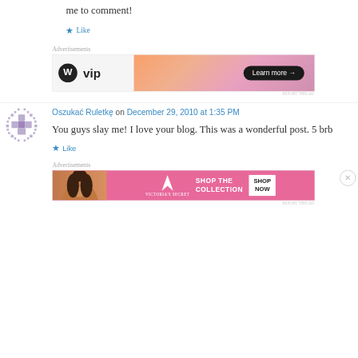me to comment!
Like
Advertisements
[Figure (screenshot): WordPress VIP advertisement banner with orange gradient and 'Learn more →' button]
REPORT THIS AD
Oszukać Ruletkę on December 29, 2010 at 1:35 PM
You guys slay me! I love your blog. This was a wonderful post. 5 brb
Like
Advertisements
[Figure (screenshot): Victoria's Secret advertisement banner with pink background, model, logo and 'SHOP THE COLLECTION SHOP NOW' button]